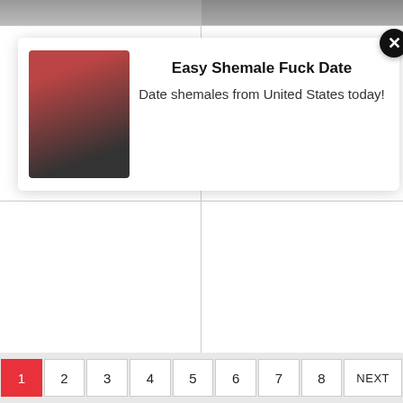[Figure (screenshot): Top banner strip showing partial adult content images]
[Figure (screenshot): Popup overlay with person photo, title 'Easy Shemale Fuck Date', subtitle 'Date shemales from United States today!' and close button]
Ladyboy
Ladyboy
Ladyboy
Ladyboy
1 2 3 4 5 6 7 8 NEXT